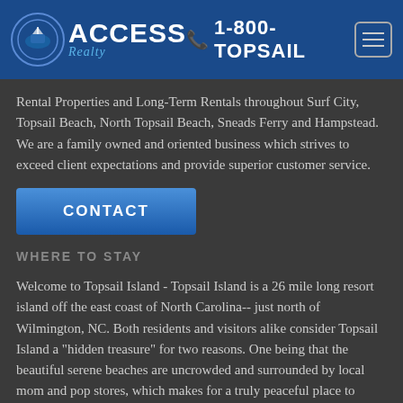ACCESS Realty | 1-800-TOPSAIL
Rental Properties and Long-Term Rentals throughout Surf City, Topsail Beach, North Topsail Beach, Sneads Ferry and Hampstead. We are a family owned and oriented business which strives to exceed client expectations and provide superior customer service.
CONTACT
WHERE TO STAY
Welcome to Topsail Island - Topsail Island is a 26 mile long resort island off the east coast of North Carolina-- just north of Wilmington, NC. Both residents and visitors alike consider Topsail Island a "hidden treasure" for two reasons. One being that the beautiful serene beaches are uncrowded and surrounded by local mom and pop stores, which makes for a truly peaceful place to vacation or live...